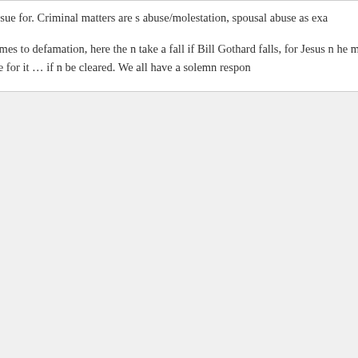you would sue for. Criminal matters are s abuse/molestation, spousal abuse as exa
When it comes to defamation, here the n take a fall if Bill Gothard falls, for Jesus n he must be held accountable for it … if n be cleared. We all have a solemn respon
[Figure (photo): Profile photo of a man with glasses and a beard, smiling, outdoors with trees in background]
MatthewS February 14, 2
"but it remains that this do permanent and irrev "What Bill allowed to h

You consistently use th with the girls he hurt. B further enabled by yes- weather man is not at t reported the snow was girls and RG didn't mal